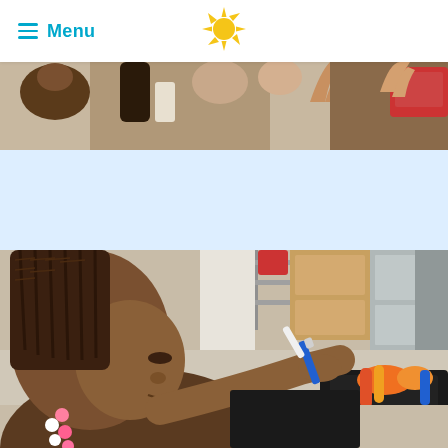Menu
[Figure (photo): Top strip showing children/people with hands visible, classroom or group activity scene]
[Figure (photo): Young girl with braided hair and pink beaded accessories, wearing a brown shirt, writing or drawing with a blue marker on a dark surface, with colorful supplies nearby, in a kitchen/classroom setting]